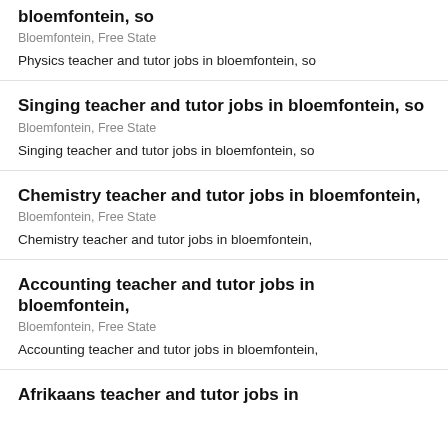bloemfontein, so
Bloemfontein, Free State
Physics teacher and tutor jobs in bloemfontein, so
Singing teacher and tutor jobs in bloemfontein, so
Bloemfontein, Free State
Singing teacher and tutor jobs in bloemfontein, so
Chemistry teacher and tutor jobs in bloemfontein,
Bloemfontein, Free State
Chemistry teacher and tutor jobs in bloemfontein,
Accounting teacher and tutor jobs in bloemfontein,
Bloemfontein, Free State
Accounting teacher and tutor jobs in bloemfontein,
Afrikaans teacher and tutor jobs in